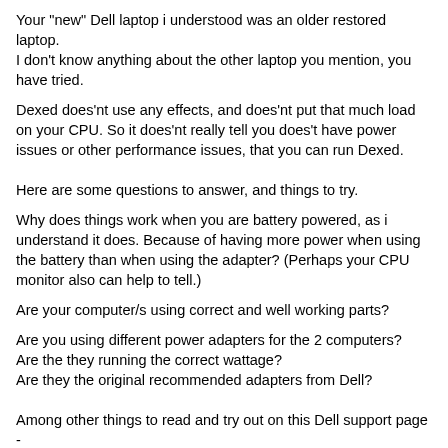Your "new" Dell laptop i understood was an older restored laptop.
I don't know anything about the other laptop you mention, you have tried.
Dexed does'nt use any effects, and does'nt put that much load on your CPU. So it does'nt really tell you does't have power issues or other performance issues, that you can run Dexed.
Here are some questions to answer, and things to try.
Why does things work when you are battery powered, as i understand it does. Because of having more power when using the battery than when using the adapter? (Perhaps your CPU monitor also can help to tell.)
Are your computer/s using correct and well working parts?
Are you using different power adapters for the 2 computers?
Are the they running the correct wattage?
Are they the original recommended adapters from Dell?
Among other things to read and try out on this Dell support page - https://www.dell.com/support/article/dk/da/dkbsdt1/sln128918/ac-adapter-not-powering-on-the-computer-or-charging-the-battery?lang=en#AC_Adapter
- you find the following - (The text might be better to read thru